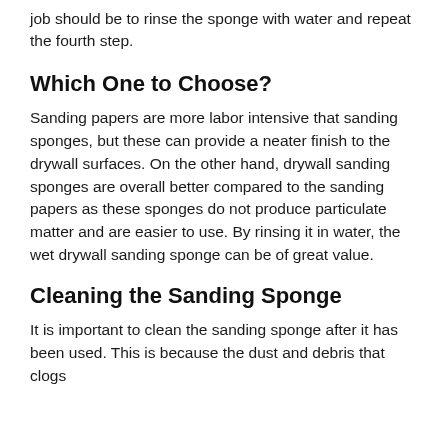job should be to rinse the sponge with water and repeat the fourth step.
Which One to Choose?
Sanding papers are more labor intensive that sanding sponges, but these can provide a neater finish to the drywall surfaces. On the other hand, drywall sanding sponges are overall better compared to the sanding papers as these sponges do not produce particulate matter and are easier to use. By rinsing it in water, the wet drywall sanding sponge can be of great value.
Cleaning the Sanding Sponge
It is important to clean the sanding sponge after it has been used. This is because the dust and debris that clogs